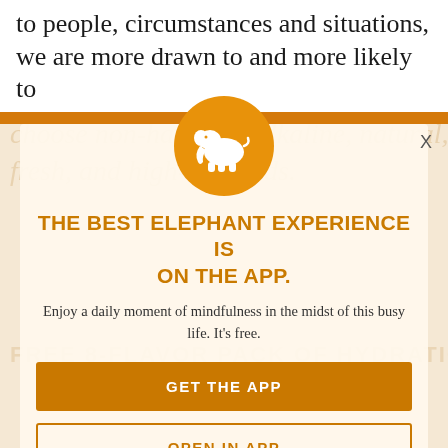to people, circumstances and situations, we are more drawn to and more likely to
choose non-harming, alkaline, natural, fresh, and high-vib foods.
THE BEST ELEPHANT EXPERIENCE IS ON THE APP.
Enjoy a daily moment of mindfulness in the midst of this busy life. It's free.
GET THE APP
OPEN IN APP